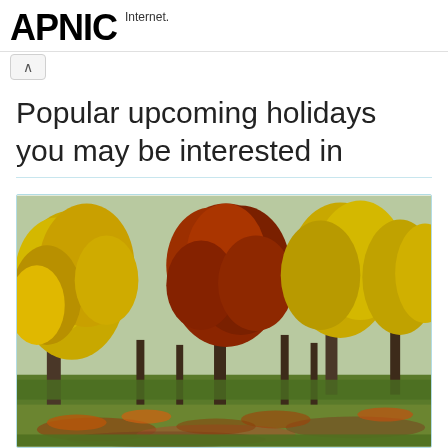APNIC Internet.
Popular upcoming holidays you may be interested in
[Figure (photo): Autumn landscape with yellow and orange-red trees in a park, fallen leaves on green grass]